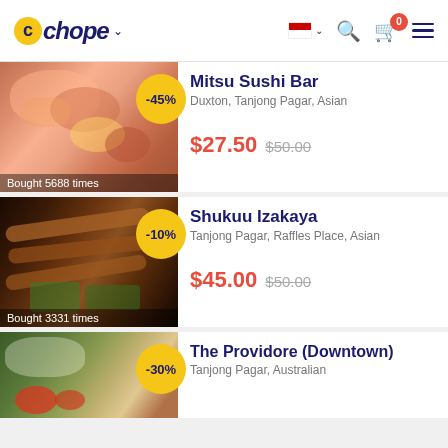Chope — restaurant listing page header
[Figure (photo): Sushi/sashimi platter with salmon, tuna, and ikura (fish roe), with a yellow flower garnish. Discount badge -45%. Label: Bought 5688 times.]
Mitsu Sushi Bar
Duxton, Tanjong Pagar, Asian
$27.50  $50.00
[Figure (photo): Grilled yakitori skewers on a dark background. Discount badge -10%. Label: Bought 3331 times.]
Shukuu Izakaya
Tanjong Pagar, Raffles Place, Asian
$45.00  $50.00
[Figure (photo): Plated food with greens and tomatoes, partially visible. Discount badge -30%.]
The Providore (Downtown)
Tanjong Pagar, Australian